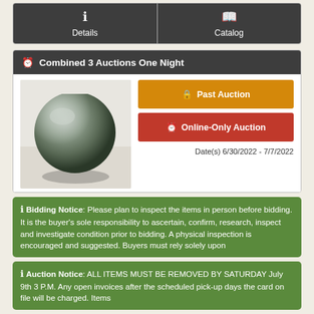[Figure (screenshot): Navigation buttons: Details and Catalog with icons]
Combined 3 Auctions One Night
[Figure (photo): Photo of a metallic/dark sphere on a white background]
Past Auction
Online-Only Auction
Date(s) 6/30/2022 - 7/7/2022
Bidding Notice: Please plan to inspect the items in person before bidding. It is the buyer's sole responsibility to ascertain, confirm, research, inspect and investigate condition prior to bidding. A physical inspection is encouraged and suggested. Buyers must rely solely upon
Auction Notice: ALL ITEMS MUST BE REMOVED BY SATURDAY July 9th 3 P.M. Any open invoices after the scheduled pick-up days the card on file will be charged. Items